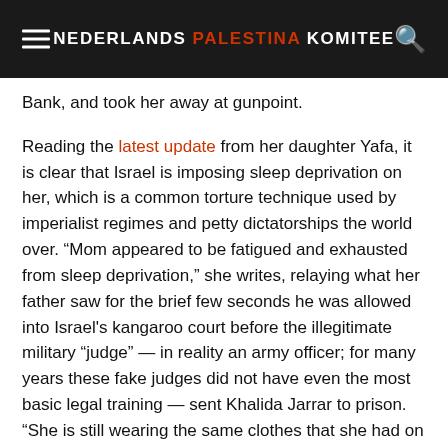NEDERLANDS PALESTINA KOMITEE
Bank, and took her away at gunpoint.
Reading the latest update from her daughter Yafa, it is clear that Israel is imposing sleep deprivation on her, which is a common torture technique used by imperialist regimes and petty dictatorships the world over. “Mom appeared to be fatigued and exhausted from sleep deprivation,” she writes, relaying what her father saw for the brief few seconds he was allowed into Israel's kangaroo court before the illegitimate military “judge” — in reality an army officer; for many years these fake judges did not have even the most basic legal training — sent Khalida Jarrar to prison. “She is still wearing the same clothes that she had on the night of her arrest,” says Yafa.
Now Jarrar is being held in isolation. This is nothing new for her.